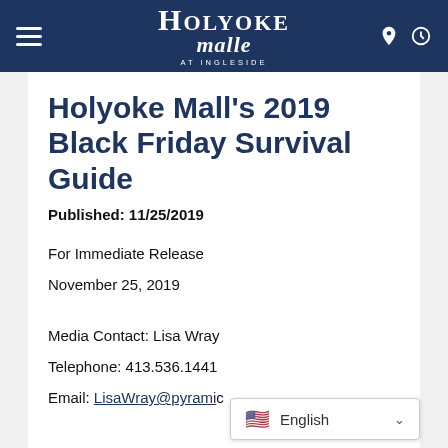Holyoke Mall at Ingleside
Holyoke Mall’s 2019 Black Friday Survival Guide
Published: 11/25/2019
For Immediate Release
November 25, 2019
Media Contact: Lisa Wray
Telephone: 413.536.1441
Email: LisaWray@pyramic...